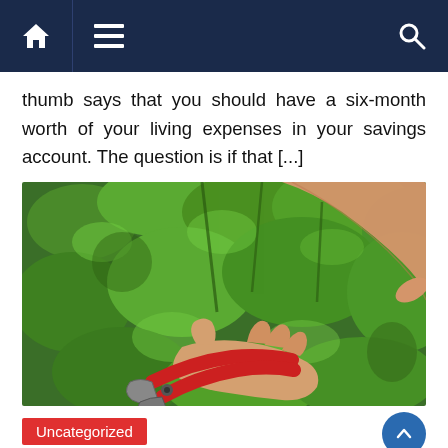Navigation bar with home, menu, and search icons
thumb says that you should have a six-month worth of your living expenses in your savings account. The question is if that [...]
[Figure (photo): Person holding red pruning shears/secateurs among green leafy plants, with one hand reaching from above and another holding the tool from below]
Uncategorized